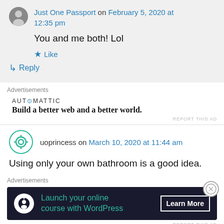Just One Passport on February 5, 2020 at 12:35 pm
You and me both! Lol
Like
Reply
Advertisements
AUTOMATTIC
Build a better web and a better world.
REPORT THIS AD
uoprincess on March 10, 2020 at 11:44 am
Using only your own bathroom is a good idea.
Advertisements
Launch your online course with WordPress
Learn More
REPORT THIS AD